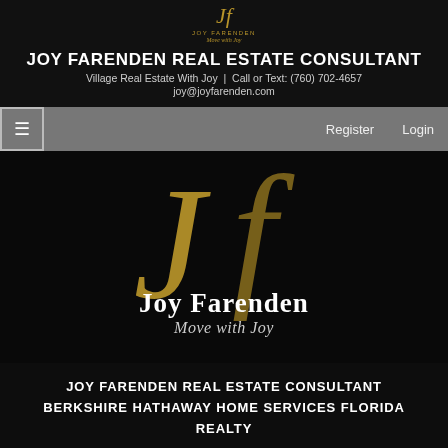[Figure (logo): Small JF monogram logo in gold script with 'JOY FARENDEN' text beneath, on black background]
JOY FARENDEN REAL ESTATE CONSULTANT
Village Real Estate With Joy  |  Call or Text: (760) 702-4657
joy@joyfarenden.com
[Figure (screenshot): Navigation bar with hamburger menu icon on left, Register and Login links on right, grey background]
[Figure (logo): Large JF monogram in gold script with 'Joy Farenden' bold white text and 'Move with Joy' italic tagline on black background]
JOY FARENDEN REAL ESTATE CONSULTANT BERKSHIRE HATHAWAY HOME SERVICES FLORIDA REALTY